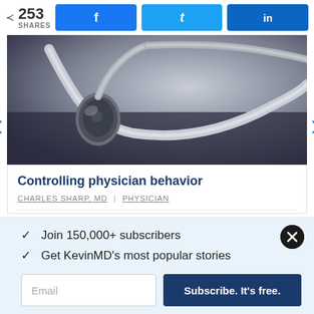253 SHARES | Facebook share | Twitter share | LinkedIn share
[Figure (photo): Close-up photo of a stethoscope on a dark surface with soft light in the background]
Controlling physician behavior
CHARLES SHARP, MD | PHYSICIAN
✓ Join 150,000+ subscribers
✓ Get KevinMD's most popular stories
Email
Subscribe. It's free.